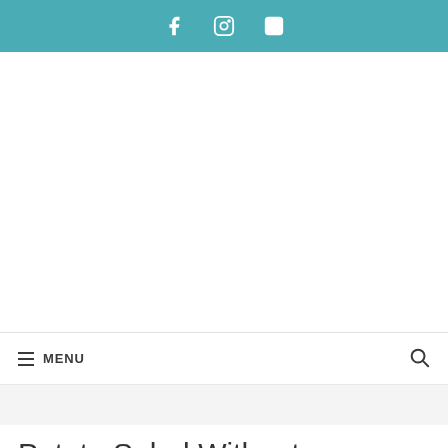Social media icons: Facebook, Instagram, Pinterest
[Figure (other): Advertisement / blank white area]
☰ MENU  🔍
[Figure (other): Gray navigation band]
Potato Salad Without